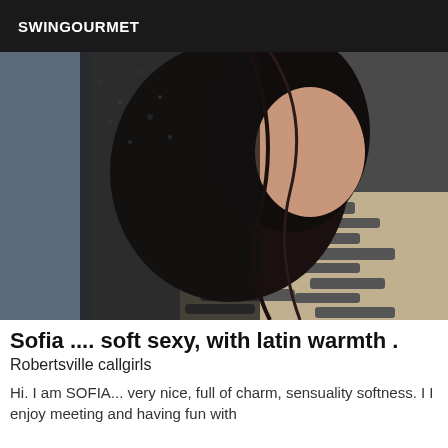SWINGOURMET
[Figure (photo): Close-up photo of a woman with dark hair, wearing black lace top, with a zebra-print fabric visible in the background.]
Sofia .... soft sexy, with latin warmth .
Robertsville callgirls
Hi. I am SOFIA... very nice, full of charm, sensuality softness. I I enjoy meeting and having fun with